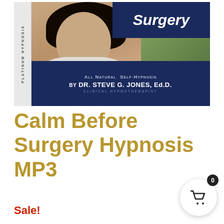[Figure (photo): Product cover image for 'Calm Before Surgery' self-hypnosis MP3 by Dr. Steve G. Jones, Ed.D. Shows a woman with eyes closed, overlaid with 'All Natural Self-Hypnosis by Dr. Steve G. Jones, Ed.D., Clinical Hypnotherapist' and Platinum Hypnosis branding on a dark navy banner.]
Calm Before Surgery Hypnosis MP3
Sale!